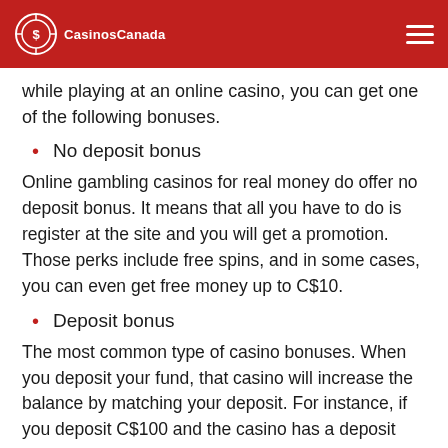CasinosCanada
while playing at an online casino, you can get one of the following bonuses.
No deposit bonus
Online gambling casinos for real money do offer no deposit bonus. It means that all you have to do is register at the site and you will get a promotion. Those perks include free spins, and in some cases, you can even get free money up to C$10.
Deposit bonus
The most common type of casino bonuses. When you deposit your fund, that casino will increase the balance by matching your deposit. For instance, if you deposit C$100 and the casino has a deposit match bonus of 100%, you will get an additional C$100, making C$200 available.